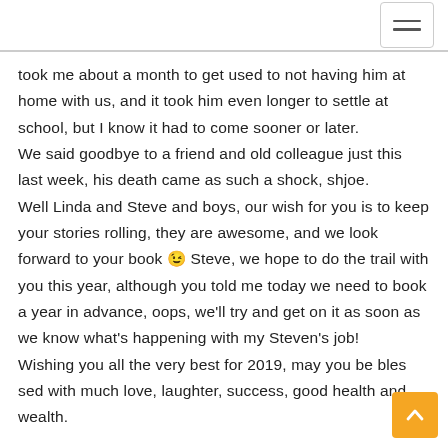[hamburger menu icon]
took me about a month to get used to not having him at home with us, and it took him even longer to settle at school, but I know it had to come sooner or later.
We said goodbye to a friend and old colleague just this last week, his death came as such a shock, shjoe.
Well Linda and Steve and boys, our wish for you is to keep your stories rolling, they are awesome, and we look forward to your book 😉 Steve, we hope to do the trail with you this year, although you told me today we need to book a year in advance, oops, we'll try and get on it as soon as we know what's happening with my Steven's job!
Wishing you all the very best for 2019, may you be blessed with much love, laughter, success, good health and wealth.